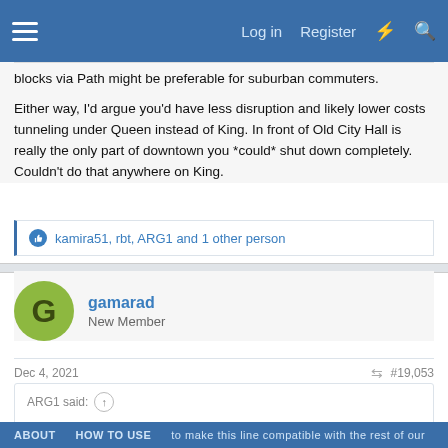Log in  Register
blocks via Path might be preferable for suburban commuters.
Either way, I'd argue you'd have less disruption and likely lower costs tunneling under Queen instead of King. In front of Old City Hall is really the only part of downtown you *could* shut down completely. Couldn't do that anywhere on King.
kamira51, rbt, ARG1 and 1 other person
gamarad
New Member
Dec 4, 2021  #19,053
ARG1 said: ↑
This is a subway, full stop. This isn't light rail, this isn't light metro, this is a metro/subway. This is standard Metro technology that will have more capacity on opening day than Line 1 has today. Sure there could be an
ABOUT   HOW TO USE   to make this line compatible with the rest of our